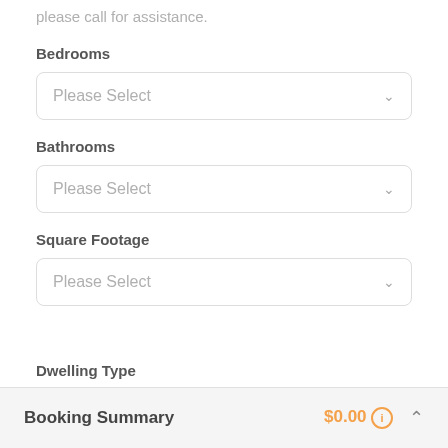please call for assistance.
Bedrooms
Please Select
Bathrooms
Please Select
Square Footage
Please Select
Dwelling Type
Booking Summary
$0.00